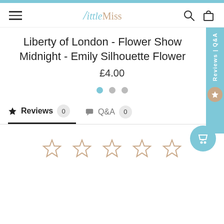[Figure (screenshot): LittleMiss e-commerce website header with hamburger menu, logo, search and cart icons]
Liberty of London - Flower Show Midnight - Emily Silhouette Flower
£4.00
[Figure (other): Three navigation dots: one filled blue, two grey]
Reviews 0
Q&A 0
[Figure (other): Five empty star rating icons in a row]